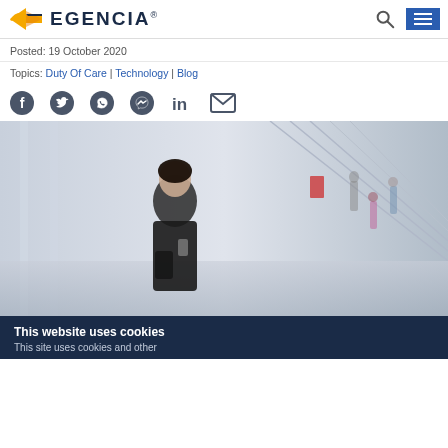EGENCIA
Posted: 19 October 2020
Topics: Duty Of Care | Technology | Blog
[Figure (other): Social media sharing icons: Facebook, Twitter, WhatsApp, Messenger, LinkedIn, Email]
[Figure (photo): A woman in a black sleeveless top looking down at her phone, standing in a busy transit hub or airport with escalators and people in the background]
This website uses cookies
This site uses cookies and other